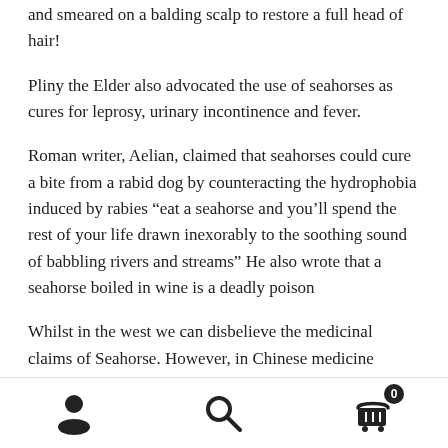and smeared on a balding scalp to restore a full head of hair!
Pliny the Elder also advocated the use of seahorses as cures for leprosy, urinary incontinence and fever.
Roman writer, Aelian, claimed that seahorses could cure a bite from a rabid dog by counteracting the hydrophobia induced by rabies “eat a seahorse and you’ll spend the rest of your life drawn inexorably to the soothing sound of babbling rivers and streams” He also wrote that a seahorse boiled in wine is a deadly poison
Whilst in the west we can disbelieve the medicinal claims of Seahorse. However, in Chinese medicine seahorse are still
Navigation bar with user, search, and cart icons